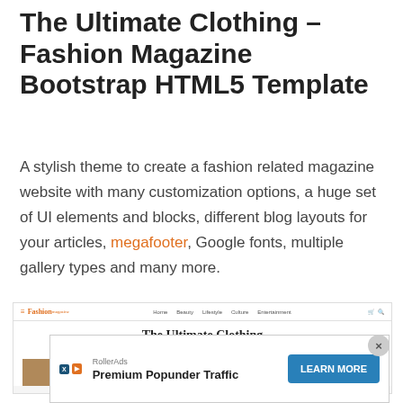The Ultimate Clothing – Fashion Magazine Bootstrap HTML5 Template
A stylish theme to create a fashion related magazine website with many customization options, a huge set of UI elements and blocks, different blog layouts for your articles, megafooter, Google fonts, multiple gallery types and many more.
[Figure (screenshot): Screenshot of The Ultimate Clothing fashion magazine website template showing navigation bar with Fashion Magazine logo and links (Home, Beauty, Lifestyle, Culture, Entertainment), a serif heading 'The Ultimate Clothing / to See The World In', and three image placeholders below.]
[Figure (infographic): RollerAds advertisement overlay showing 'RollerAds' source label, 'Premium Popunder Traffic' headline, a 'LEARN MORE' blue button, X and play badges on the left, and a circular close button on the right.]